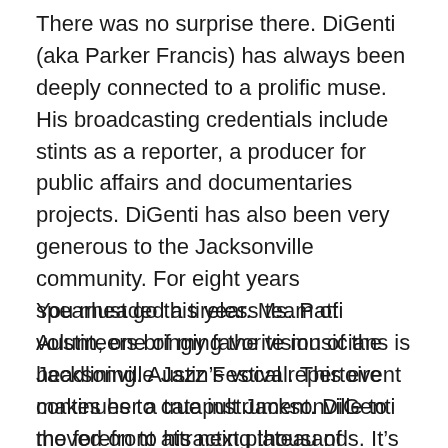There was no surprise there. DiGenti (aka Parker Francis) has always been deeply connected to a prolific muse. His broadcasting credentials include stints as a reporter, a producer for public affairs and documentaries projects. DiGenti has also been very generous to the Jacksonville community. For eight years spearheaded a tireless team of volunteers bringing the vision of the Jacksonville Jazz Festival. This event continues to catapult Jacksonville to the forefront attracting thousands. It's a memorable potpourri of musical experiences. Crowds got to marvel at the local talent as well as national artists.
You must go this year. Ms. Patti Austin, one of my favorite musicians is headlining. Austin's vocal repertoire makes her a true instrument. DiGenti moved on to his next plateau of contributions. The Jacksonville Film Festival became the next beneficiary. Its April 2012 event